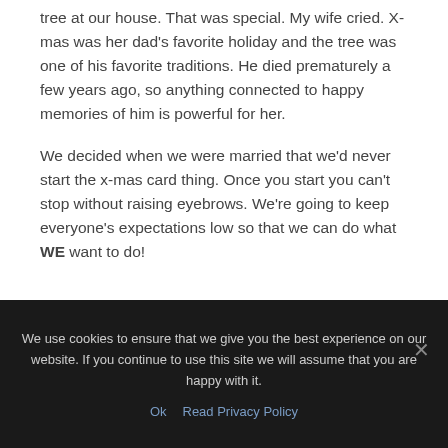tree at our house. That was special. My wife cried. X-mas was her dad's favorite holiday and the tree was one of his favorite traditions. He died prematurely a few years ago, so anything connected to happy memories of him is powerful for her.
We decided when we were married that we'd never start the x-mas card thing. Once you start you can't stop without raising eyebrows. We're going to keep everyone's expectations low so that we can do what WE want to do!
We use cookies to ensure that we give you the best experience on our website. If you continue to use this site we will assume that you are happy with it.
Ok   Read Privacy Policy